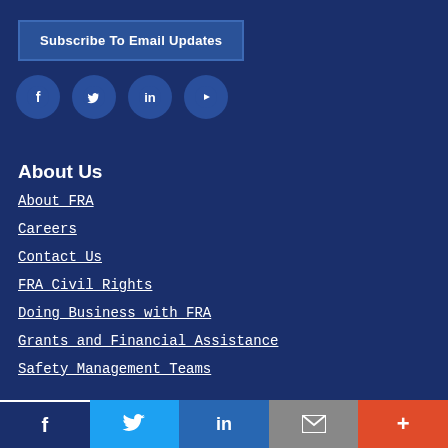Subscribe To Email Updates
[Figure (illustration): Row of four circular social media icons: Facebook, Twitter, LinkedIn, YouTube on dark blue background]
About Us
About FRA
Careers
Contact Us
FRA Civil Rights
Doing Business with FRA
Grants and Financial Assistance
Safety Management Teams
[Figure (illustration): Bottom share bar with five icons: Facebook (dark blue), Twitter (light blue), LinkedIn (blue), Email (grey), More (orange-red)]